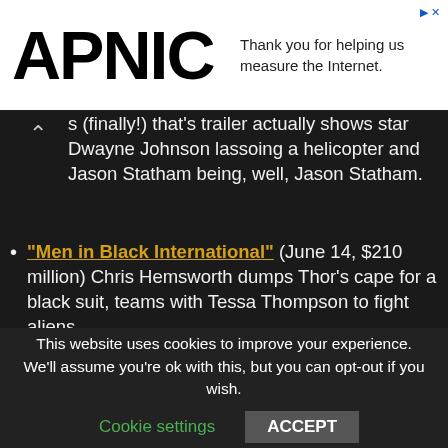[Figure (logo): APNIC logo in bold black text on white background]
Thank you for helping us measure the Internet.
s (finally!) that's trailer actually shows star Dwayne Johnson lassoing a helicopter and Jason Statham being, well, Jason Statham.
"Men in Black International" (June 14, $210 million) Chris Hemsworth dumps Thor's cape for a black suit, teams with Tessa Thompson to fight aliens.
Godzilla: King of the Monsters (May 30, $200 million) – The lizard rises from the sea to take on other monsters. Hooray!
"John Wick: Chapter 3 – Parabellum" (opened May 17, $180 million so far) – Keanu Reeves continues to
This website uses cookies to improve your experience. We'll assume you're ok with this, but you can opt-out if you wish.
Cookie settings   ACCEPT